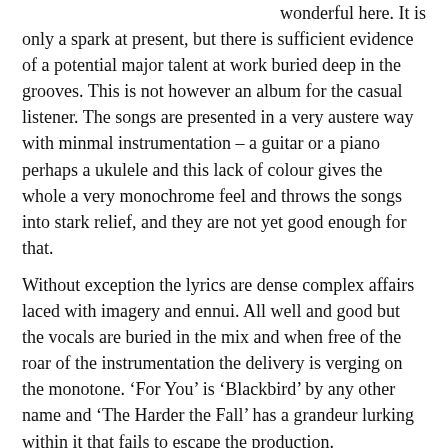wonderful here. It is only a spark at present, but there is sufficient evidence of a potential major talent at work buried deep in the grooves. This is not however an album for the casual listener. The songs are presented in a very austere way with minmal instrumentation – a guitar or a piano perhaps a ukulele and this lack of colour gives the whole a very monochrome feel and throws the songs into stark relief, and they are not yet good enough for that.
Without exception the lyrics are dense complex affairs laced with imagery and ennui. All well and good but the vocals are buried in the mix and when free of the roar of the instrumentation the delivery is verging on the monotone. 'For You' is 'Blackbird' by any other name and 'The Harder the Fall' has a grandeur lurking within it that fails to escape the production. The biggest sin is the production as it all feels muddy or shiny spiky clean but nowhere in the middle. I suspect there's a talent in there, but it needs some nurturing and guidance.